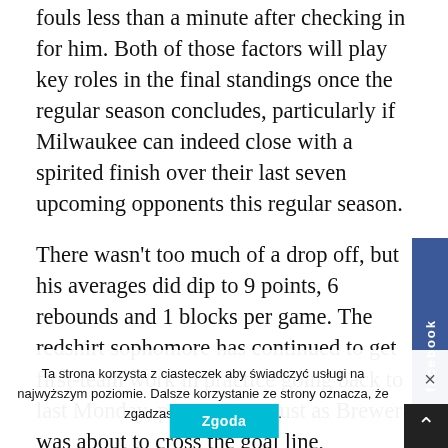fouls less than a minute after checking in for him. Both of those factors will play key roles in the final standings once the regular season concludes, particularly if Milwaukee can indeed close with a spirited finish over their last seven upcoming opponents this regular season.
There wasn't too much of a drop off, but his averages did dip to 9 points, 6 rebounds and 1 blocks per game. The redshirt sophomore has continued to get first-team work in practice going back to last Monday, per sources. Just as Brewer was about to cross the goal line, Schooler avoided a block and laid the boom.
We could only go on and on about what could have been having our pleasantries, as it ligus what could have been.
Remembering my friend Te Clarke, Boston's pro son who was the joy of every room he was in Terrence
Ta strona korzysta z ciasteczek aby świadczyć usługi na najwyższym poziomie. Dalsze korzystanie ze strony oznacza, że zgadzasz się na ich użycie.